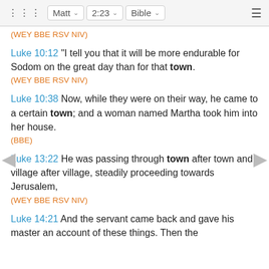Matt  2:23  Bible
(WEY BBE RSV NIV)
Luke 10:12 "I tell you that it will be more endurable for Sodom on the great day than for that town.
(WEY BBE RSV NIV)
Luke 10:38 Now, while they were on their way, he came to a certain town; and a woman named Martha took him into her house.
(BBE)
Luke 13:22 He was passing through town after town and village after village, steadily proceeding towards Jerusalem,
(WEY BBE RSV NIV)
Luke 14:21 And the servant came back and gave his master an account of these things. Then the